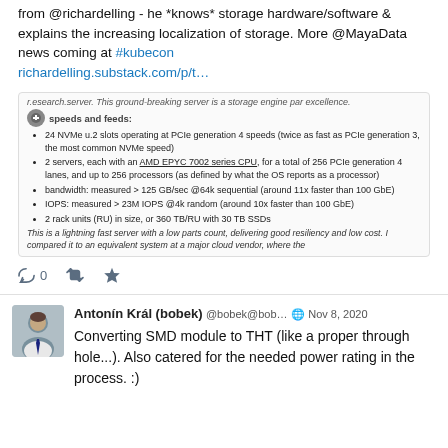from @richardelling - he *knows* storage hardware/software & explains the increasing localization of storage. More @MayaData news coming at #kubecon richardelling.substack.com/p/t...
[Figure (screenshot): Embedded article card showing bullet points about a server: 24 NVMe u.2 slots, 2 servers with AMD EPYC 7002, bandwidth >125 GB/sec, IOPS >23M, 2 rack units. Followed by summary text about lightning fast server.]
0 (reply count)
Antonín Král (bobek) @bobek@bob... Nov 8, 2020
Converting SMD module to THT (like a proper through hole...). Also catered for the needed power rating in the process. :)